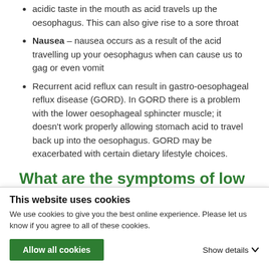acidic taste in the mouth as acid travels up the oesophagus. This can also give rise to a sore throat
Nausea – nausea occurs as a result of the acid travelling up your oesophagus when can cause us to gag or even vomit
Recurrent acid reflux can result in gastro-oesophageal reflux disease (GORD). In GORD there is a problem with the lower oesophageal sphincter muscle; it doesn't work properly allowing stomach acid to travel back up into the oesophagus. GORD may be exacerbated with certain dietary lifestyle choices.
What are the symptoms of low
This website uses cookies
We use cookies to give you the best online experience. Please let us know if you agree to all of these cookies.